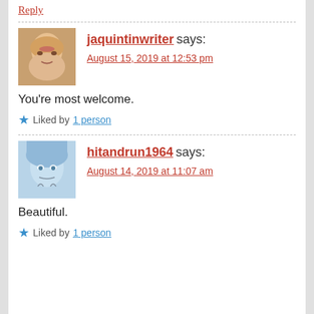Reply
[Figure (photo): Avatar photo of jaquintinwriter - woman with blonde hair]
jaquintinwriter says:
August 15, 2019 at 12:53 pm
You're most welcome.
Liked by 1 person
[Figure (photo): Avatar photo of hitandrun1964 - illustrated face with blue tones]
hitandrun1964 says:
August 14, 2019 at 11:07 am
Beautiful.
Liked by 1 person